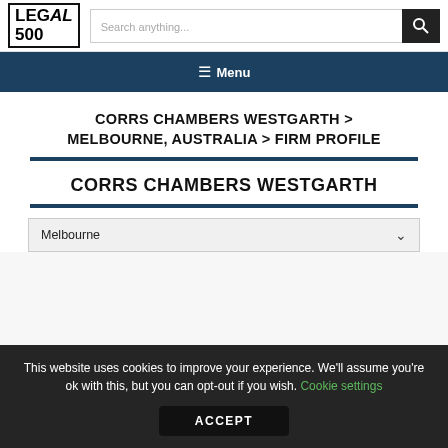LEGAL 500
Menu
CORRS CHAMBERS WESTGARTH > MELBOURNE, AUSTRALIA > FIRM PROFILE
CORRS CHAMBERS WESTGARTH
Melbourne
This website uses cookies to improve your experience. We'll assume you're ok with this, but you can opt-out if you wish. Cookie settings
ACCEPT